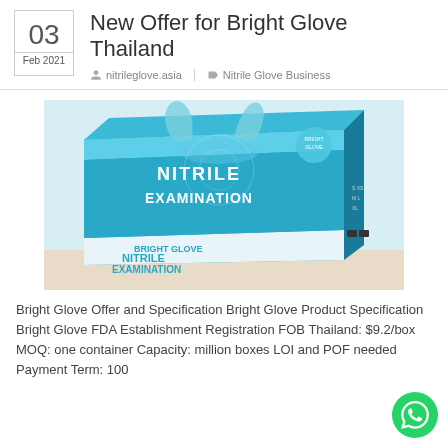New Offer for Bright Glove Thailand
03 Feb 2021 nitrileglove.asia Nitrile Glove Business
[Figure (photo): Box of Bright Glove Nitrile Examination gloves, blue packaging]
Bright Glove Offer and Specification Bright Glove Product Specification Bright Glove FDA Establishment Registration FOB Thailand: $9.2/box MOQ: one container Capacity: million boxes LOI and POF needed Payment Term: 100